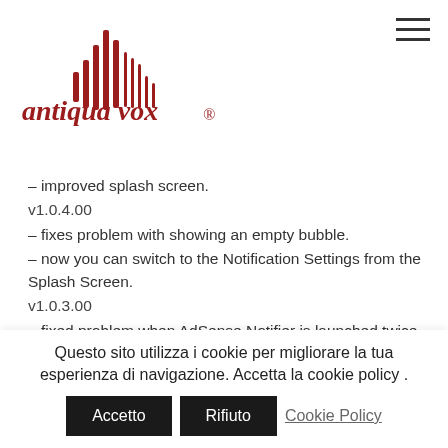[Figure (logo): Antiqua Vox logo with red soundwave bars and italic red text 'antiqua vox®']
– improved splash screen.
v1.0.4.00
– fixes problem with showing an empty bubble.
– now you can switch to the Notification Settings from the Splash Screen.
v1.0.3.00
– fixed problem when AdSense Notifier is launched twice.
v1.0.2.00
– fixed problem with showing incorrect amount of
Questo sito utilizza i cookie per migliorare la tua esperienza di navigazione. Accetta la cookie policy .
Accetto | Rifiuto | Cookie Policy